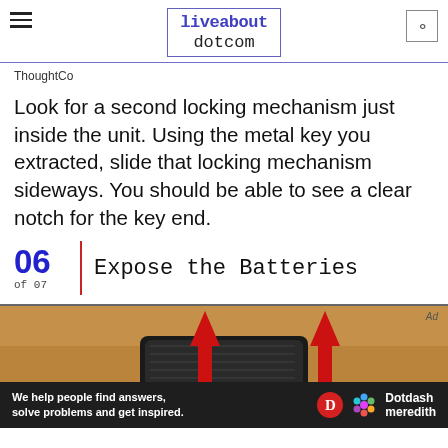liveabout dotcom
ThoughtCo
Look for a second locking mechanism just inside the unit. Using the metal key you extracted, slide that locking mechanism sideways. You should be able to see a clear notch for the key end.
06 of 07 | Expose the Batteries
[Figure (photo): Photo of a device with two red arrows pointing upward indicating battery exposure points, taken on a warm brown background.]
We help people find answers, solve problems and get inspired. Dotdash meredith